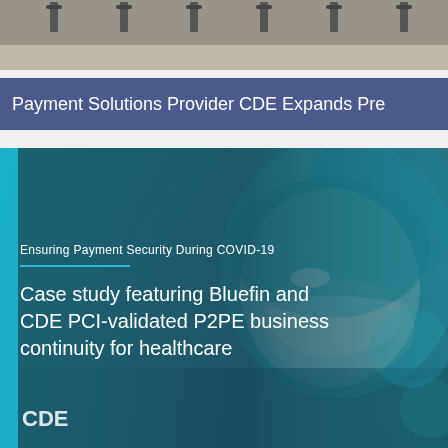[Figure (photo): Aerial/outdoor photo showing rows of chairs or benches on a paved surface — top portion cropped]
Payment Solutions Provider CDE Expands Pre
[Figure (photo): Healthcare worker wearing surgical mask and teal hair covering. Overlay text reads: 'Ensuring Payment Security During COVID-19' and 'Case study featuring Bluefin and CDE PCI-validated P2PE business continuity for healthcare'. Blue vertical stripe on left edge. CDE logo partially visible at bottom.]